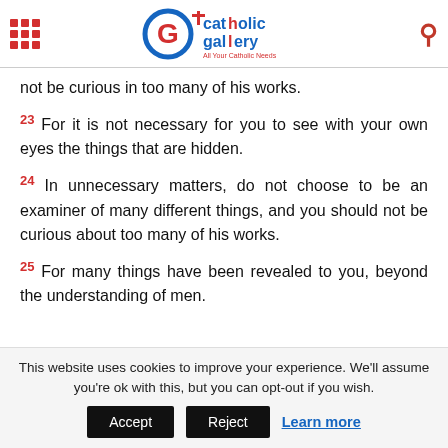Catholic Gallery — All Your Catholic Needs
not be curious in too many of his works.
23 For it is not necessary for you to see with your own eyes the things that are hidden.
24 In unnecessary matters, do not choose to be an examiner of many different things, and you should not be curious about too many of his works.
25 For many things have been revealed to you, beyond the understanding of men.
This website uses cookies to improve your experience. We'll assume you're ok with this, but you can opt-out if you wish. Accept Reject Learn more